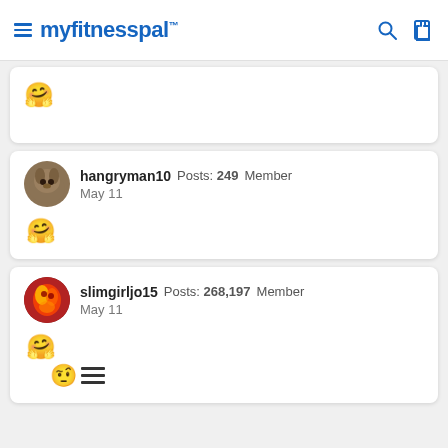myfitnesspal
🤗
hangryman10  Posts: 249  Member
May 11
🤗
slimgirljo15  Posts: 268,197  Member
May 11
🤗 🤨 ☰